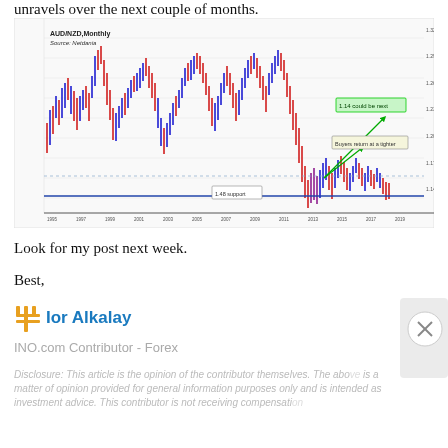unravels over the next couple of months.
[Figure (continuous-plot): AUD/NZD Monthly candlestick chart from approximately 1995 to 2020. Shows price history with red and blue candles. Annotations include: '1.14 could be next' in green box near top right, 'Buyers return at a tighter' label, and '1.48 support' label at bottom center. A horizontal blue support line near the bottom and green diagonal arrows pointing up-right suggesting bullish targets. Source: Netdania.]
Look for my post next week.
Best,
Ior Alkalay
INO.com Contributor - Forex
Disclosure: This article is the opinion of the contributor themselves. The above is a matter of opinion provided for general information purposes only and is intended as investment advice. This contributor is not receiving compensati...